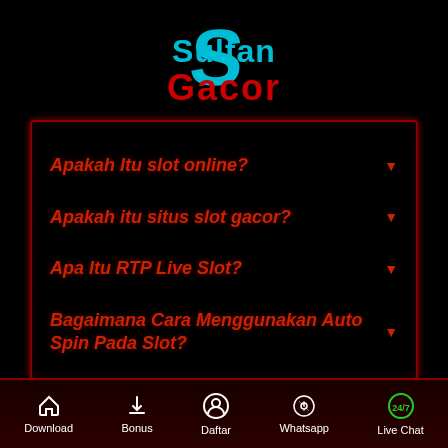[Figure (logo): Sultan Gacor logo with cyan S icon and red Gacor text on black background]
Apakah Itu slot online?
Apakah itu situs slot gacor?
Apa Itu RTP Live Slot?
Bagaimana Cara Menggunakan Auto Spin Pada Slot?
Download | Bonus | Daftar | Whatsapp | Live Chat